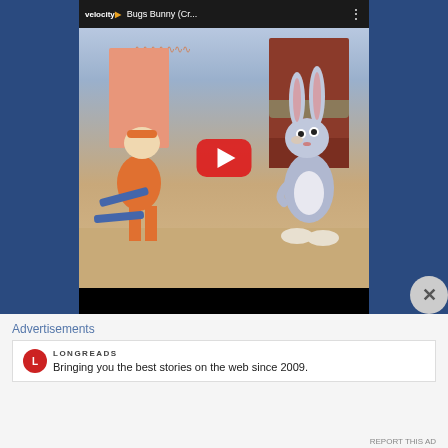[Figure (screenshot): YouTube video embed showing a Bugs Bunny cartoon thumbnail with Elmer Fudd and Bugs Bunny characters in a Western town setting. Video title bar shows 'velocity' logo and 'Bugs Bunny (Cr...' title with three dots menu. A large red YouTube play button is centered on the thumbnail. Below the thumbnail is a black bar.]
Advertisements
[Figure (logo): Longreads circular red logo with 'L' letter, followed by 'LONGREADS' text in small caps and tagline 'Bringing you the best stories on the web since 2009.']
REPORT THIS AD